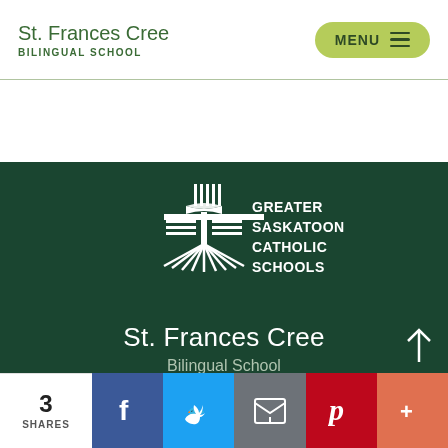St. Frances Cree BILINGUAL SCHOOL
[Figure (logo): Greater Saskatoon Catholic Schools logo — white cross and book symbol on dark green background, with text GREATER SASKATOON CATHOLIC SCHOOLS]
St. Frances Cree
Bilingual School
3 SHARES — Facebook, Twitter, Email, Pinterest, More share buttons